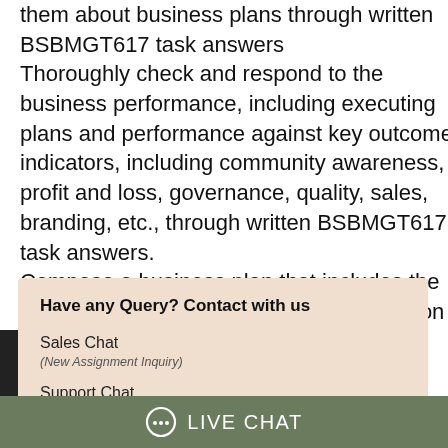them about business plans through written BSBMGT617 task answers
Thoroughly check and respond to the business performance, including executing plans and performance against key outcome indicators, including community awareness, profit and loss, governance, quality, sales, branding, etc., through written BSBMGT617 task answers.
Compose a business plan that includes the business description and proper description of the products and services, financial, human resource, and physical elements through written BSBMGT617 answers.
the business values, vision, mission, goals
Have any Query? Contact with us
Sales Chat
(New Assignment Inquiry)
Support Chat
(Assignment Already Booked)
LIVE CHAT